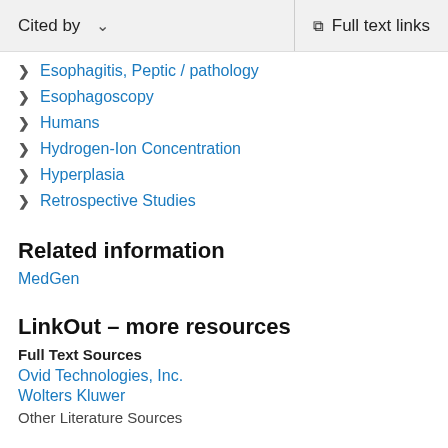Cited by    Full text links
Esophagitis, Peptic / pathology
Esophagoscopy
Humans
Hydrogen-Ion Concentration
Hyperplasia
Retrospective Studies
Related information
MedGen
LinkOut – more resources
Full Text Sources
Ovid Technologies, Inc.
Wolters Kluwer
Other Literature Sources